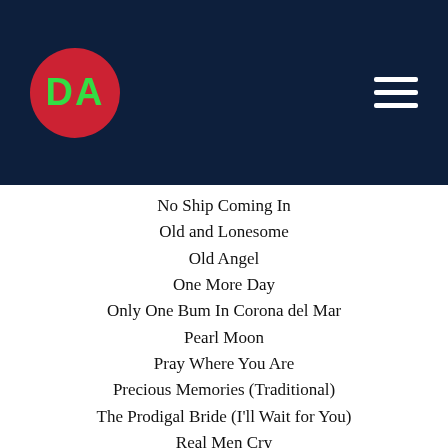[Figure (logo): DA logo: red circle with green bold DA letters on dark navy header bar with hamburger menu icon]
No Ship Coming In
Old and Lonesome
Old Angel
One More Day
Only One Bum In Corona del Mar
Pearl Moon
Pray Where You Are
Precious Memories (Traditional)
The Prodigal Bride (I'll Wait for You)
Real Men Cry
Reasonable Service
Rebecca Go Home
Red, White and Blue
Rocky Mountain Mines
Scenic Routes